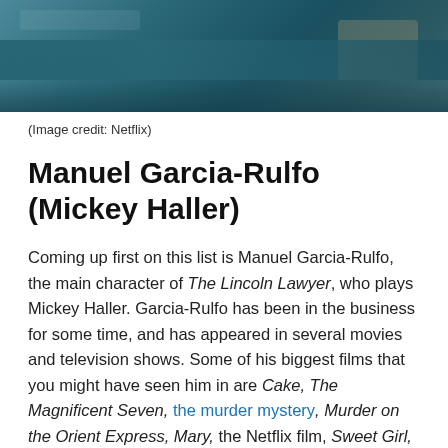[Figure (photo): Cropped photo of a teal/dark blue vintage car, top portion visible, outdoors scene.]
(Image credit: Netflix)
Manuel Garcia-Rulfo (Mickey Haller)
Coming up first on this list is Manuel Garcia-Rulfo, the main character of The Lincoln Lawyer, who plays Mickey Haller. Garcia-Rulfo has been in the business for some time, and has appeared in several movies and television shows. Some of his biggest films that you might have seen him in are Cake, The Magnificent Seven, the murder mystery, Murder on the Orient Express, Mary, the Netflix film, Sweet Girl, and more.